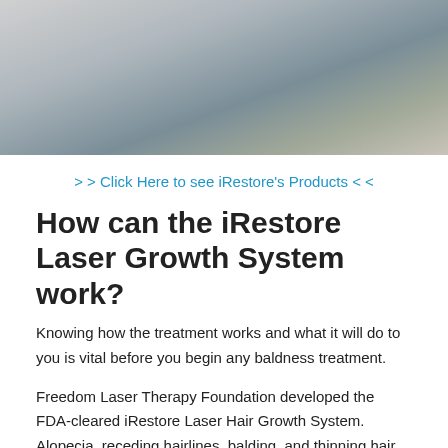[Figure (photo): Person holding a hairbrush, wearing a grey sweatshirt, photographed from chest up against a light background.]
> > Click Here to see iRestore's Products < <
How can the iRestore Laser Growth System work?
Knowing how the treatment works and what it will do to you is vital before you begin any baldness treatment.
Freedom Laser Therapy Foundation developed the FDA-cleared iRestore Laser Hair Growth System. Alopecia, receding hairlines, balding, and thinning hair are treated by using low-level lasers which also stimulates hair growth. iRestore is a straightforward procedure that may be performed in your house, and it may be achieved in a couple of minutes.